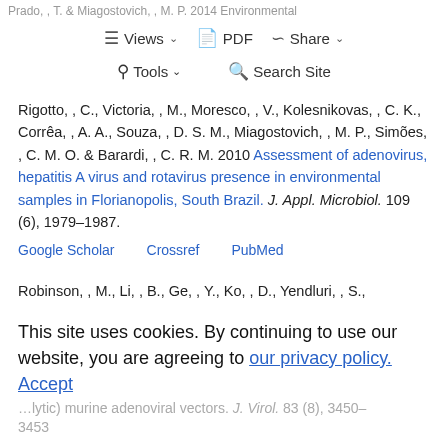Prado, , T. & Miagostovich, , M. P. 2014 Environmental vircl… …on in …man …d. Saúde Pública 30 (7), 1367–1378.
Rigotto, , C., Victoria, , M., Moresco, , V., Kolesnikovas, , C. K., Corrêa, , A. A., Souza, , D. S. M., Miagostovich, , M. P., Simões, , C. M. O. & Barardi, , C. R. M. 2010 Assessment of adenovirus, hepatitis A virus and rotavirus presence in environmental samples in Florianopolis, South Brazil. J. Appl. Microbiol. 109 (6), 1979–1987.
Google Scholar   Crossref   PubMed
Robinson, , M., Li, , B., Ge, , Y., Ko, , D., Yendluri, , S., Harding, , T., VanRoey, , M., Spindler, , K. R. & Jooss, , K. ...murine adenoviral vectors. J. Virol. 83 (8), 3450–3453
This site uses cookies. By continuing to use our website, you are agreeing to our privacy policy.
Accept